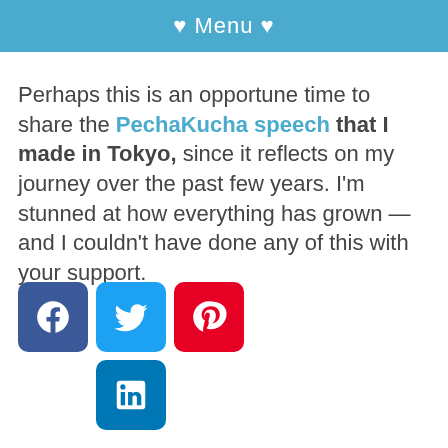♥ Menu ♥
Perhaps this is an opportune time to share the PechaKucha speech that I made in Tokyo, since it reflects on my journey over the past few years. I'm stunned at how everything has grown — and I couldn't have done any of this with your support.
[Figure (other): Social media sharing icons: Facebook, Twitter, Pinterest, LinkedIn]